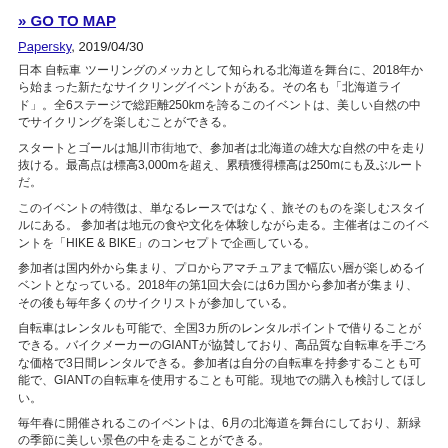» GO TO MAP
Papersky, 2019/04/30
日本 自転車 ツーリングのメッカとして知られる北海道を舞台に、2018年から始まった新たなサイクリングイベントがある。その名も「北海道ライド」。全6ステージで総距離250kmを誇るこのイベントは、美しい自然の中でサイクリングを楽しむことができる。
スタートとゴールは旭川市街地で、参加者は北海道の雄大な自然の中を走り抜ける。最高点は標高3,000mを超え、累積獲得標高は250mにも及ぶルートだ。
このイベントの特徴は、単なるレースではなく、旅そのものを楽しむスタイルにある。 参加者は地元の食や文化を体験しながら走る。主催者はこのイベントを「HIKE & BIKE」のコンセプトで企画している。
参加者は国内外から集まり、プロからアマチュアまで幅広い層が楽しめるイベントとなっている。2018年の第1回大会には6カ国から参加者が集まり、その後も毎年多くのサイクリストが参加している。
自転車はレンタルも可能で、全国3カ所のレンタルポイントで借りることができる。バイクメーカーのGIANTが協賛しており、高品質な自転車を手ごろな価格で3日間レンタルできる。参加者は自分の自転車を持参することも可能で、GIANTの自転車を使用することも可能。現地での購入も検討してほしい。
毎年春に開催されるこのイベントは、6月の北海道を舞台にしており、新緑の季節に美しい景色の中を走ることができる。